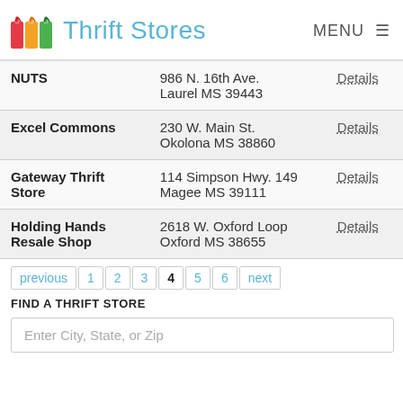Thrift Stores — MENU
| Store Name | Address | Action |
| --- | --- | --- |
| NUTS | 986 N. 16th Ave.
Laurel MS 39443 | Details |
| Excel Commons | 230 W. Main St.
Okolona MS 38860 | Details |
| Gateway Thrift Store | 114 Simpson Hwy. 149
Magee MS 39111 | Details |
| Holding Hands Resale Shop | 2618 W. Oxford Loop
Oxford MS 38655 | Details |
previous 1 2 3 4 5 6 next
FIND A THRIFT STORE
Enter City, State, or Zip